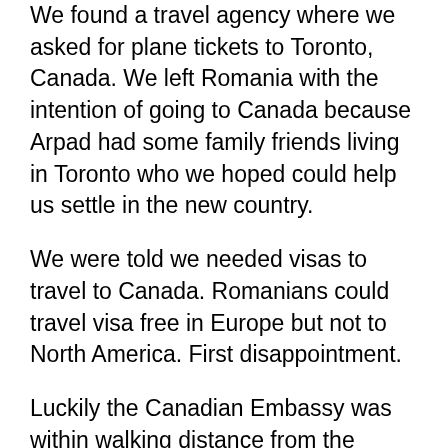We found a travel agency where we asked for plane tickets to Toronto, Canada. We left Romania with the intention of going to Canada because Arpad had some family friends living in Toronto who we hoped could help us settle in the new country.
We were told we needed visas to travel to Canada. Romanians could travel visa free in Europe but not to North America. First disappointment.
Luckily the Canadian Embassy was within walking distance from the Travel Agency.
We walked in and with the passports in our hands we asked for visas. Tourist visas? We were asked. We said yes. Do you have a letter of invitation? No! You need one in order to get a tourist visa. Second disappointment. We had no way of getting a letter of invitation from Canada on such a short notice.